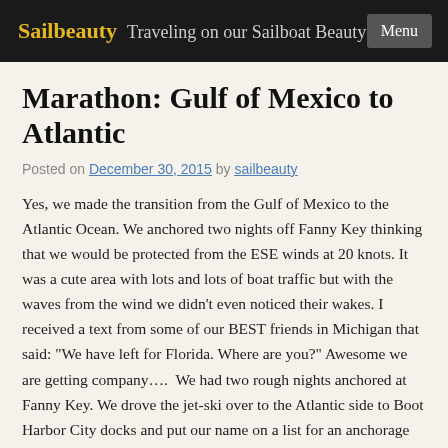Sailbeauty  Traveling on our Sailboat Beauty  Menu
Marathon: Gulf of Mexico to Atlantic
Posted on December 30, 2015 by sailbeauty
Yes, we made the transition from the Gulf of Mexico to the Atlantic Ocean. We anchored two nights off Fanny Key thinking that we would be protected from the ESE winds at 20 knots. It was a cute area with lots and lots of boat traffic but with the waves from the wind we didn't even noticed their wakes. I received a text from some of our BEST friends in Michigan that said: “We have left for Florida. Where are you?” Awesome we are getting company….  We had two rough nights anchored at Fanny Key. We drove the jet-ski over to the Atlantic side to Boot Harbor City docks and put our name on a list for an anchorage ball in hope that we could get one before our guest arrived. They said we were the 10th person on the list and no one is moving due to the small craft warnings. We had lunch at Burdines. great food. Who ever thought that shrimp and sauerkraut Rubin sandwich would be so delicious…